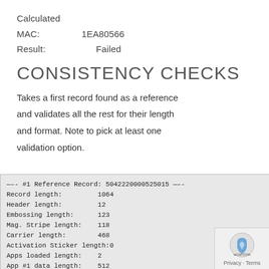Calculated MAC:    1EA80566
Result:            Failed
CONSISTENCY CHECKS
Takes a first record found as a reference and validates all the rest for their length and format. Note to pick at least one validation option.
[Figure (screenshot): Console output showing reference record details: Record length: 1064, Header length: 12, Embossing length: 123, Mag. Stripe length: 118, Carrier length: 468, Activation Sticker length:0, Apps loaded length: 2, App #1 data length: 512, App #2 data length: 170, Embossing check: OK]